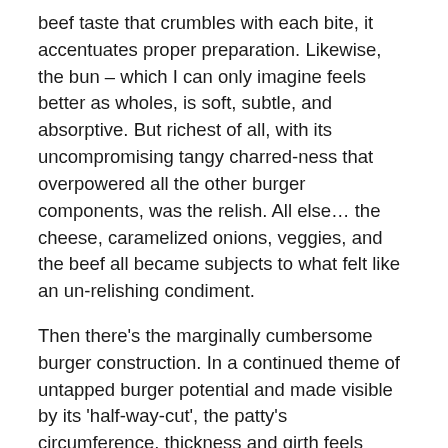beef taste that crumbles with each bite, it accentuates proper preparation. Likewise, the bun – which I can only imagine feels better as wholes, is soft, subtle, and absorptive. But richest of all, with its uncompromising tangy charred-ness that overpowered all the other burger components, was the relish. All else… the cheese, caramelized onions, veggies, and the beef all became subjects to what felt like an un-relishing condiment.
Then there's the marginally cumbersome burger construction. In a continued theme of untapped burger potential and made visible by its 'half-way-cut', the patty's circumference, thickness and girth feels slightly short to the ratio of the bun. Resulting in a few of the dreaded 'mostly bun, no patty' last bites. While not terrible, it is not the complete burger taste balance taste one would like to have as a last bite.